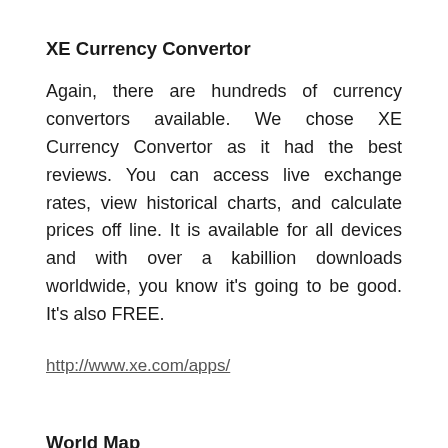XE Currency Convertor
Again, there are hundreds of currency convertors available. We chose XE Currency Convertor as it had the best reviews. You can access live exchange rates, view historical charts, and calculate prices off line. It is available for all devices and with over a kabillion downloads worldwide, you know it's going to be good. It's also FREE.
http://www.xe.com/apps/
World Map
World Map is a simple overview map of the world. No frills. Useful for planning and explaining to new found